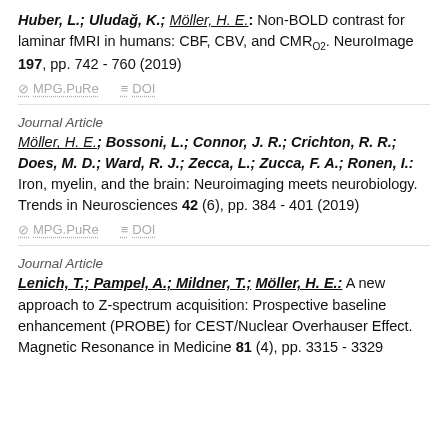Huber, L.; Uludağ, K.; Möller, H. E.: Non-BOLD contrast for laminar fMRI in humans: CBF, CBV, and CMRO2. NeuroImage 197, pp. 742 - 760 (2019)
MPG.PuRe   DOI
Journal Article
Möller, H. E.; Bossoni, L.; Connor, J. R.; Crichton, R. R.; Does, M. D.; Ward, R. J.; Zecca, L.; Zucca, F. A.; Ronen, I.: Iron, myelin, and the brain: Neuroimaging meets neurobiology. Trends in Neurosciences 42 (6), pp. 384 - 401 (2019)
MPG.PuRe   DOI
Journal Article
Lenich, T.; Pampel, A.; Mildner, T.; Möller, H. E.: A new approach to Z-spectrum acquisition: Prospective baseline enhancement (PROBE) for CEST/Nuclear Overhauser Effect. Magnetic Resonance in Medicine 81 (4), pp. 3315 - 3329